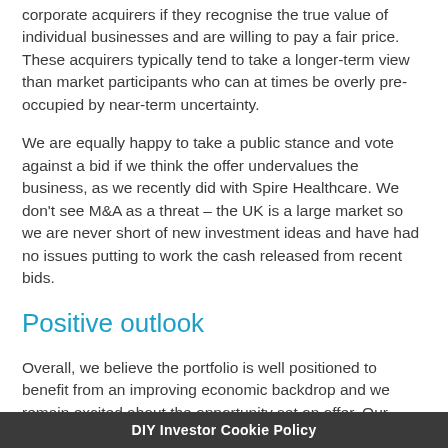corporate acquirers if they recognise the true value of individual businesses and are willing to pay a fair price. These acquirers typically tend to take a longer-term view than market participants who can at times be overly pre-occupied by near-term uncertainty.
We are equally happy to take a public stance and vote against a bid if we think the offer undervalues the business, as we recently did with Spire Healthcare. We don't see M&A as a threat – the UK is a large market so we are never short of new investment ideas and have had no issues putting to work the cash released from recent bids.
Positive outlook
Overall, we believe the portfolio is well positioned to benefit from an improving economic backdrop and we remain excited about the opportunity set on offer. Our holdings continue to trade at a meaningful discount to the broader UK market, despite resilient earnings, superior returns on capital and relatively low levels of debt. This quality profile combined with the more positive outlook give us confidence that...
DIY Investor Cookie Policy